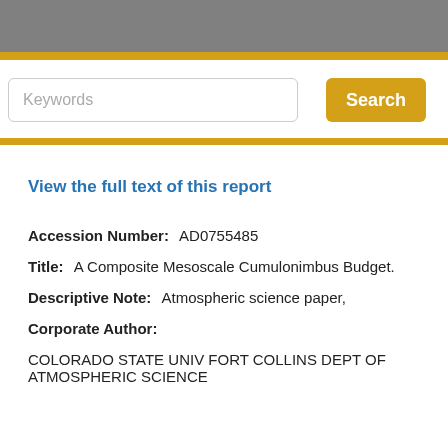Keywords
Search
View the full text of this report
Accession Number: AD0755485
Title: A Composite Mesoscale Cumulonimbus Budget.
Descriptive Note: Atmospheric science paper,
Corporate Author:
COLORADO STATE UNIV FORT COLLINS DEPT OF ATMOSPHERIC SCIENCE